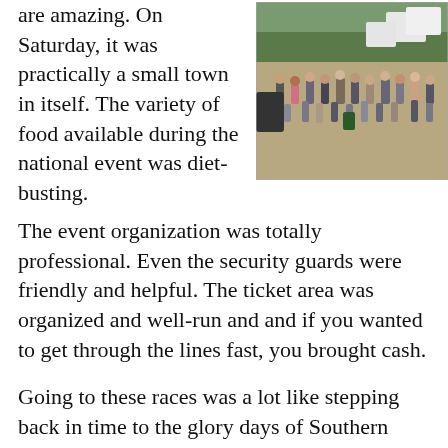are amazing. On Saturday, it was practically a small town in itself. The variety of food available during the national event was diet-busting. The event organization was totally professional. Even the security guards were friendly and helpful. The ticket area was organized and well-run and and if you wanted to get through the lines fast, you brought cash.
[Figure (photo): Outdoor crowd scene at what appears to be a motorsport/race event. Many people walking on a dirt/gravel area with vendor tents and trees in the background.]
Going to these races was a lot like stepping back in time to the glory days of Southern California's CMC, except for the politically-correct Midwestern electric guitar version of the Star Spangled Banner and the weirdest pre-race Road Warrior-style prayer I've ever heard. If this were a CMC event, the between-race entertainment would be a Van Halen-style band (or the actual Van Halen band) and the motorcycles would provide respite from the sound system volume. The track's PA system is adequate for between race dialog, but is pretty much buried by the 4-stroke snarl of 40 race bikes. However, the track also has a simulcast on the